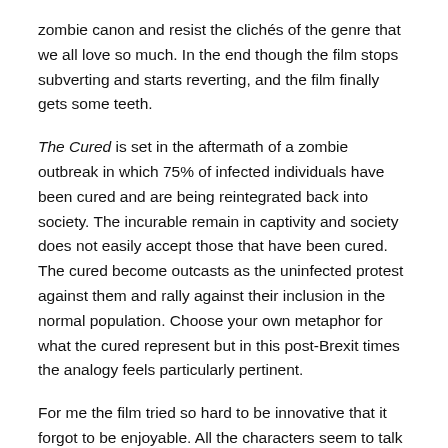zombie canon and resist the clichés of the genre that we all love so much. In the end though the film stops subverting and starts reverting, and the film finally gets some teeth.
The Cured is set in the aftermath of a zombie outbreak in which 75% of infected individuals have been cured and are being reintegrated back into society. The incurable remain in captivity and society does not easily accept those that have been cured. The cured become outcasts as the uninfected protest against them and rally against their inclusion in the normal population. Choose your own metaphor for what the cured represent but in this post-Brexit times the analogy feels particularly pertinent.
For me the film tried so hard to be innovative that it forgot to be enjoyable. All the characters seem to talk at each other rather than to each other and when they aren't doing that everyone is moping around with expressionless faces. The film is also liberally sprinkled with false jump scares which betray the genre that The Cured is desperate to break out into.